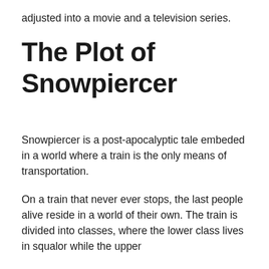adjusted into a movie and a television series.
The Plot of Snowpiercer
Snowpiercer is a post-apocalyptic tale embeded in a world where a train is the only means of transportation.
On a train that never ever stops, the last people alive reside in a world of their own. The train is divided into classes, where the lower class lives in squalor while the upper